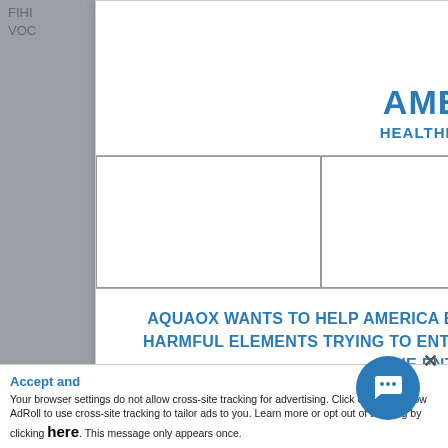[Figure (logo): Veteran Owned Business shield badge logo]
AMERICA STRONG
HEALTHIER LIFESTYLE, STRONGER YOU
[Figure (illustration): Four product image placeholder boxes in a row]
AQUAOX WANTS TO HELP AMERICA BE STRONG. MAKE SURE YOUR FAMILY IS PROTECTED FROM HARMFUL ELEMENTS TRYING TO ENTER YOUR HOME. ORDER TODAY AND GET CLEAN WATER FOR THE ENTIRE HOUSE. WE'RE ALL IN THIS
Accept and
Your browser settings do not allow cross-site tracking for advertising. Click on this to allow AdRoll to use cross-site tracking to tailor ads to you. Learn more or opt out of this A ng by clicking here. This message only appears once.